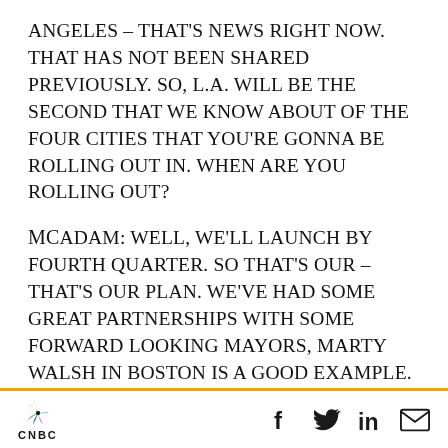ANGELES – THAT'S NEWS RIGHT NOW. THAT HAS NOT BEEN SHARED PREVIOUSLY. SO, L.A. WILL BE THE SECOND THAT WE KNOW ABOUT OF THE FOUR CITIES THAT YOU'RE GONNA BE ROLLING OUT IN. WHEN ARE YOU ROLLING OUT?
McADAM: WELL, WE'LL LAUNCH BY FOURTH QUARTER. SO THAT'S OUR – THAT'S OUR PLAN. WE'VE HAD SOME GREAT PARTNERSHIPS WITH SOME FORWARD LOOKING MAYORS, MARTY WALSH IN BOSTON IS A GOOD EXAMPLE. MAYOR GARCETTI IN L.A. SO WE WANT TO REALLY
[Figure (logo): CNBC logo with peacock icon and social media icons (Facebook, Twitter, LinkedIn, Email)]